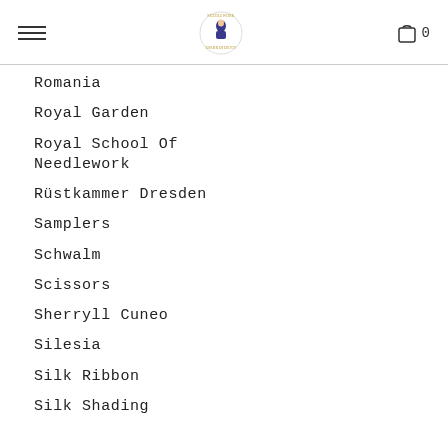Navigation header with hamburger menu, logo, and cart (0)
Romania
Royal Garden
Royal School Of Needlework
Rüstkammer Dresden
Samplers
Schwalm
Scissors
Sherryll Cuneo
Silesia
Silk Ribbon
Silk Shading